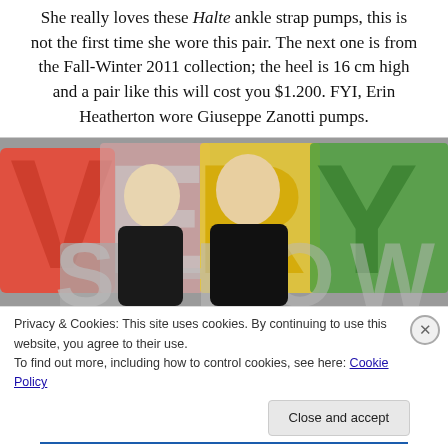She really loves these Halte ankle strap pumps, this is not the first time she wore this pair. The next one is from the Fall-Winter 2011 collection; the heel is 16 cm high and a pair like this will cost you $1.200. FYI, Erin Heatherton wore Giuseppe Zanotti pumps.
[Figure (photo): Two blonde women in black dresses posing in front of colorful large letter display spelling VERY (partial), with red, yellow and green letters]
Privacy & Cookies: This site uses cookies. By continuing to use this website, you agree to their use.
To find out more, including how to control cookies, see here: Cookie Policy